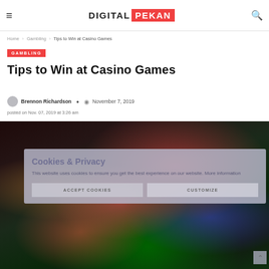Digital Pekan — navigation header with hamburger menu, logo, and search icon
Home > Gambling > Tips to Win at Casino Games
GAMBLING
Tips to Win at Casino Games
Brennon Richardson  November 7, 2019
posted on Nov. 07, 2019 at 3:26 am
[Figure (photo): Casino dice, poker chips in red, blue, and white scattered on a green felt table surface with dramatic lighting]
Cookies & Privacy
This website uses cookies to ensure you get the best experience on our website. More information
ACCEPT COOKIES   CUSTOMIZE